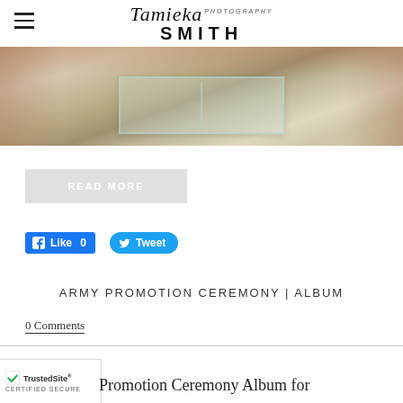Tamieka/PHOTOGRAPHY SMITH
[Figure (photo): Interior room photo showing glass coffee table with beige couch and patterned cushions, cropped partial view]
READ MORE
Like 0   Tweet
ARMY PROMOTION CEREMONY | ALBUM
0 Comments
Promotion Ceremony Album for